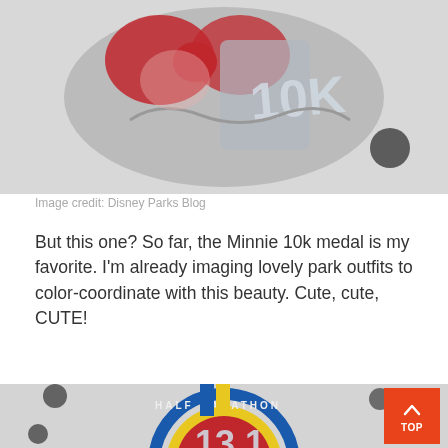[Figure (photo): Close-up photo of a Minnie Mouse 10K race medal with red and silver design against a light background. Black circular decorative dots visible.]
Image credit: Disney Parks Blog
But this one? So far, the Minnie 10k medal is my favorite. I'm already imaging lovely park outfits to color-coordinate with this beauty. Cute, cute, CUTE!
[Figure (photo): Photo of a Half Marathon 13.1 Disney race medal with blue, red, and yellow circular design with Mickey Mouse figure, ribbon with blue and yellow stripes, and a 'TOP' button in orange in the bottom right corner.]